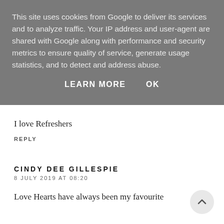This site uses cookies from Google to deliver its services and to analyze traffic. Your IP address and user-agent are shared with Google along with performance and security metrics to ensure quality of service, generate usage statistics, and to detect and address abuse.
LEARN MORE    OK
I love Refreshers
REPLY
CINDY DEE GILLESPIE
8 JULY 2019 AT 08:20
Love Hearts have always been my favourite